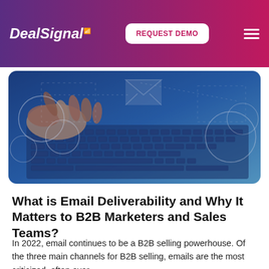DealSignal | REQUEST DEMO
[Figure (photo): Hands typing on a laptop keyboard with digital overlay graphics showing email envelopes and dotted circle patterns in blue tones]
What is Email Deliverability and Why It Matters to B2B Marketers and Sales Teams?
In 2022, email continues to be a B2B selling powerhouse. Of the three main channels for B2B selling, emails are the most criticized, often over...